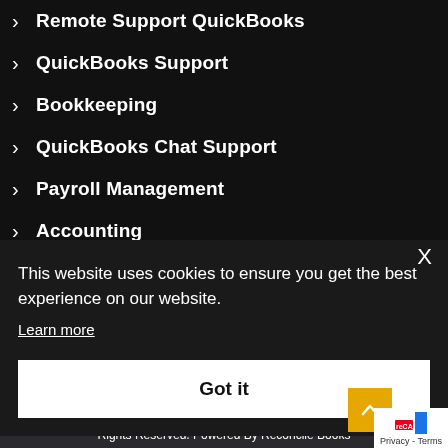Remote Support QuickBooks
QuickBooks Support
Bookkeeping
QuickBooks Chat Support
Payroll Management
Accounting
X
This website uses cookies to ensure you get the best experience on our website.
Learn more
Got it
Copyright © 2022 Quickbooks Enterprise Num… Rights Reserved. Powered By Reconcile Books